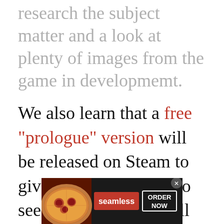research the subject matter and a look at plenty of images from the game in developmemt.
We also learn that a free “prologue” version will be released on Steam to give players a chance to see what the game is all about. This should come between June and July 2021.
CONTENT CONTINUES AFTER AD
[Figure (screenshot): Seamless food delivery advertisement banner showing pizza image on left, red Seamless logo button in center, and white ORDER NOW button on right, on dark background.]